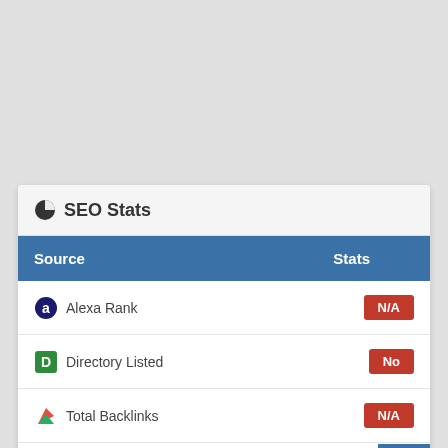SEO Stats
| Source | Stats |
| --- | --- |
| Alexa Rank | N/A |
| Directory Listed | No |
| Total Backlinks | N/A |
| Page Speed | 0/100 |
| Bounce Rate | 100/100 |